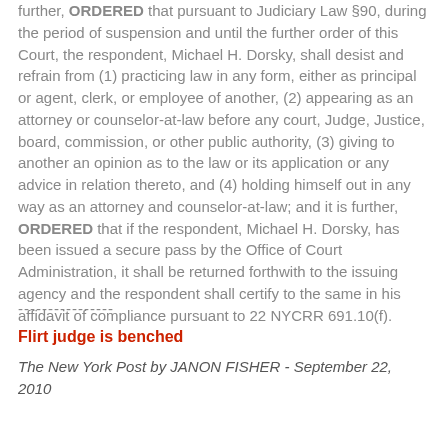further, ORDERED that pursuant to Judiciary Law §90, during the period of suspension and until the further order of this Court, the respondent, Michael H. Dorsky, shall desist and refrain from (1) practicing law in any form, either as principal or agent, clerk, or employee of another, (2) appearing as an attorney or counselor-at-law before any court, Judge, Justice, board, commission, or other public authority, (3) giving to another an opinion as to the law or its application or any advice in relation thereto, and (4) holding himself out in any way as an attorney and counselor-at-law; and it is further, ORDERED that if the respondent, Michael H. Dorsky, has been issued a secure pass by the Office of Court Administration, it shall be returned forthwith to the issuing agency and the respondent shall certify to the same in his affidavit of compliance pursuant to 22 NYCRR 691.10(f).
----------------
Flirt judge is benched
The New York Post by JANON FISHER - September 22, 2010